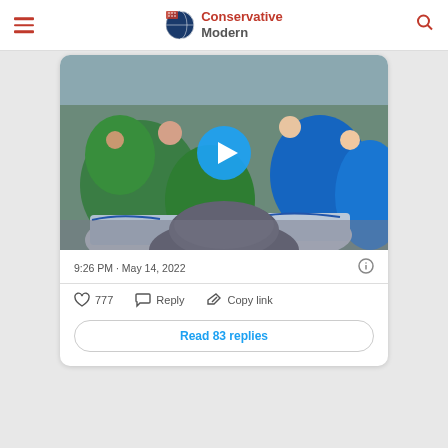Conservative Modern
[Figure (screenshot): Video thumbnail showing a crowd of people at a march, some wearing green t-shirts reading 'Hands Off Our Bodies', with drum players in foreground. A blue play button circle is overlaid in the center.]
9:26 PM · May 14, 2022
♡ 777   Reply   Copy link
Read 83 replies